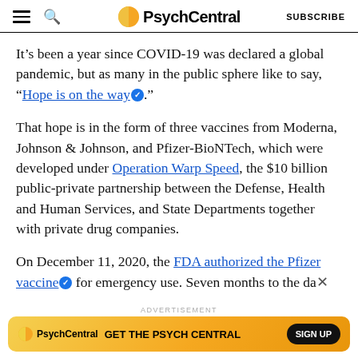PsychCentral — SUBSCRIBE
It’s been a year since COVID-19 was declared a global pandemic, but as many in the public sphere like to say, “Hope is on the way•.”
That hope is in the form of three vaccines from Moderna, Johnson & Johnson, and Pfizer-BioNTech, which were developed under Operation Warp Speed, the $10 billion public-private partnership between the Defense, Health and Human Services, and State Departments together with private drug companies.
On December 11, 2020, the FDA authorized the Pfizer vaccine• for emergency use. Seven months to the da…
[Figure (other): PsychCentral advertisement banner with orange gradient background, PsychCentral logo, text 'GET THE PSYCH CENTRAL', and SIGN UP button]